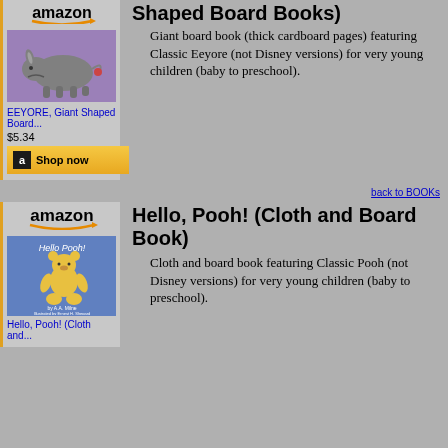Shaped Board Books)
Giant board book (thick cardboard pages) featuring Classic Eeyore (not Disney versions) for very young children (baby to preschool).
[Figure (illustration): Amazon logo with orange arrow and Eeyore book product image]
EEYORE, Giant Shaped Board...
$5.34
Shop now
back to BOOKs
Hello, Pooh! (Cloth and Board Book)
Cloth and board book featuring Classic Pooh (not Disney versions) for very young children (baby to preschool).
[Figure (illustration): Amazon logo with orange arrow and Hello Pooh book product image]
Hello, Pooh! (Cloth and...